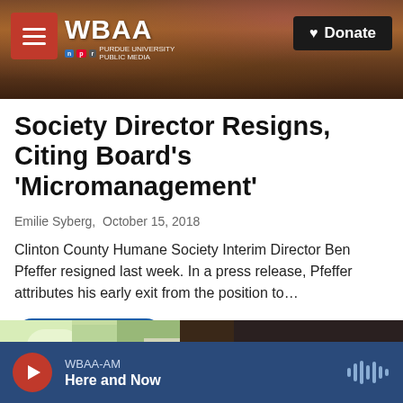WBAA | Donate
Society Director Resigns, Citing Board's 'Micromanagement'
Emilie Syberg,  October 15, 2018
Clinton County Humane Society Interim Director Ben Pfeffer resigned last week. In a press release, Pfeffer attributes his early exit from the position to…
LISTEN • 4:34
[Figure (photo): Photo of people at a meeting with a Toshiba projector screen visible in the background]
WBAA-AM
Here and Now